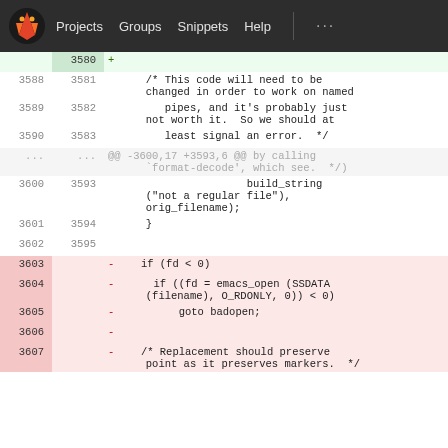[Figure (screenshot): GitLab navigation bar with logo, Projects, Groups, Snippets, Help links]
Code diff view showing lines 3580-3607 of a source file. Lines 3580-3583 are added (green), showing a comment about code needing to change for named pipes. Lines 3600-3602 have context showing build_string call. Lines 3603-3607 are removed (red), showing if(fd<0), emacs_open call, goto badopen, and a replacement comment.